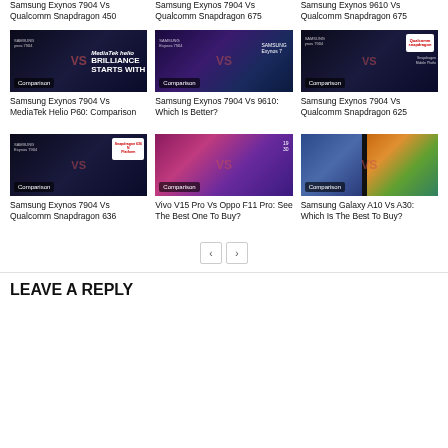Samsung Exynos 7904 Vs Qualcomm Snapdragon 450
Samsung Exynos 7904 Vs Qualcomm Snapdragon 675
Samsung Exynos 9610 Vs Qualcomm Snapdragon 675
[Figure (photo): Comparison card thumbnail - Samsung Exynos 7904 vs MediaTek Helio P60]
[Figure (photo): Comparison card thumbnail - Samsung Exynos 7904 vs 9610]
[Figure (photo): Comparison card thumbnail - Samsung Exynos 7904 vs Qualcomm Snapdragon 625]
Samsung Exynos 7904 Vs MediaTek Helio P60: Comparison
Samsung Exynos 7904 Vs 9610: Which Is Better?
Samsung Exynos 7904 Vs Qualcomm Snapdragon 625
[Figure (photo): Comparison card thumbnail - Samsung Exynos 7904 vs Qualcomm Snapdragon 636]
[Figure (photo): Comparison card thumbnail - Vivo V15 Pro vs Oppo F11 Pro]
[Figure (photo): Comparison card thumbnail - Samsung Galaxy A10 vs A30]
Samsung Exynos 7904 Vs Qualcomm Snapdragon 636
Vivo V15 Pro Vs Oppo F11 Pro: See The Best One To Buy?
Samsung Galaxy A10 Vs A30: Which Is The Best To Buy?
LEAVE A REPLY